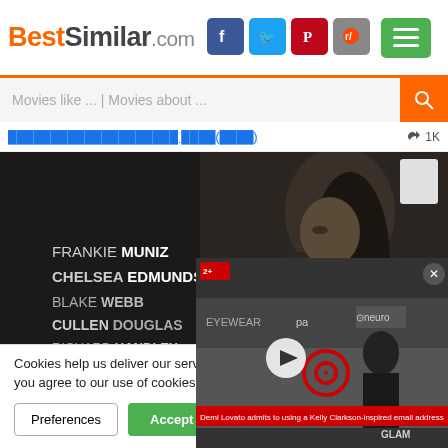BestSimilar.com
Movies like ... | Movies about ...
👍 1K
[Figure (screenshot): Movie scene showing cast names: FRANKIE MUNIZ, CHELSEA EDMUNDSON, BLAKE WEBB, CULLEN DOUGLAS, RICHARD HANDLEY, MARY DeVAULT with a woman in dark background]
Cookies help us deliver our services. By using our services, you agree to our use of cookies as described in our Cookie Policy.
[Figure (screenshot): Mini video player overlay showing a person at a red carpet event with EYEWEAR and neuro brand logos visible. Red headline: Demi Lovato admits to using a Kelly Clarkson-inspired email address]